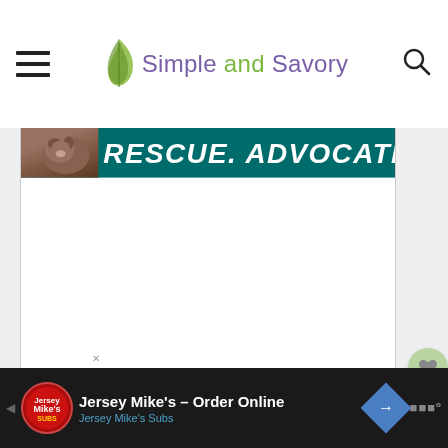Simple and Savory
[Figure (screenshot): Website screenshot of 'Simple and Savory' food blog. Page header shows hamburger menu icon on left, 'Simple and Savory' logo in center (green leaf icon, purple/green text), and search icon on right. Below is a partially visible banner ad showing 'RESCUE. ADVOCATE.' text on teal background with a dog image. Main content area is white/light gray. Right side has heart (save) and share button icons, and a 'WHAT'S NEXT' panel showing 'Turkey Cranberry...' with a thumbnail. Bottom has a Jersey Mike's ad bar in dark background.]
[Figure (screenshot): Advertisement banner: dark teal background with dog image on left and bold white italic text 'RESCUE. ADVOCATE.']
WHAT'S NEXT → Turkey Cranberry...
Jersey Mike's – Order Online
Jersey Mike's Subs